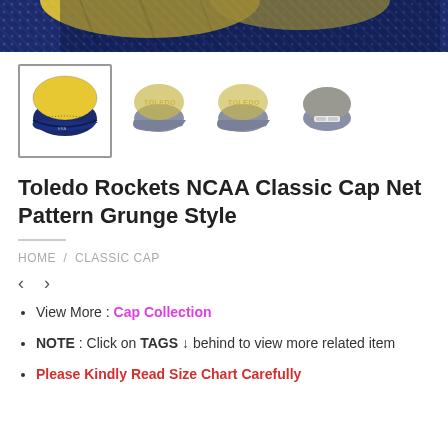[Figure (photo): Top portion of a Toledo Rockets NCAA cap showing navy blue and yellow colors with net/grunge pattern, partially visible at top of page]
[Figure (photo): Four thumbnail views of the Toledo Rockets NCAA Classic Cap Net Pattern Grunge Style: front-left selected view, front view, front-right view, and back view]
Toledo Rockets NCAA Classic Cap Net Pattern Grunge Style
HOME / CLASSIC CAP
View More : Cap Collection
NOTE : Click on TAGS ↓ behind to view more related item
Please Kindly Read Size Chart Carefully